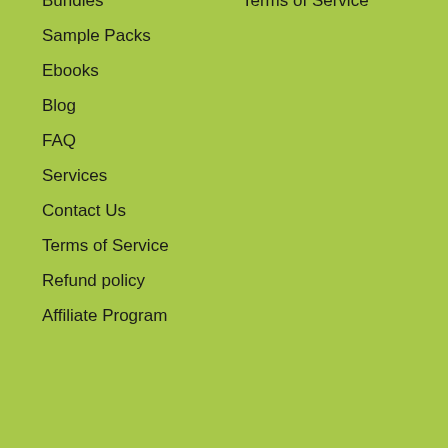Bundles
Terms of Service
Sample Packs
Ebooks
Blog
FAQ
Services
Contact Us
Terms of Service
Refund policy
Affiliate Program